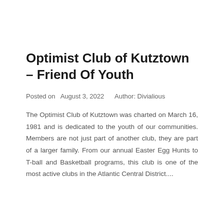Optimist Club of Kutztown – Friend Of Youth
Posted on  August 3, 2022      Author: Divialious
The Optimist Club of Kutztown was charted on March 16, 1981 and is dedicated to the youth of our communities. Members are not just part of another club, they are part of a larger family. From our annual Easter Egg Hunts to T-ball and Basketball programs, this club is one of the most active clubs in the Atlantic Central District....